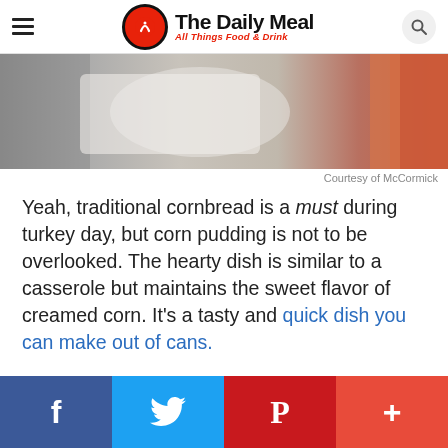The Daily Meal — All Things Food & Drink
[Figure (photo): Close-up photo of food ingredients on a countertop, showing flour-dusted surface with a white dish and an orange plate visible at the right edge.]
Courtesy of McCormick
Yeah, traditional cornbread is a must during turkey day, but corn pudding is not to be overlooked. The hearty dish is similar to a casserole but maintains the sweet flavor of creamed corn. It's a tasty and quick dish you can make out of cans.
For the Chipotle Corn Pudding recipe, click here.
f  Twitter  P  +